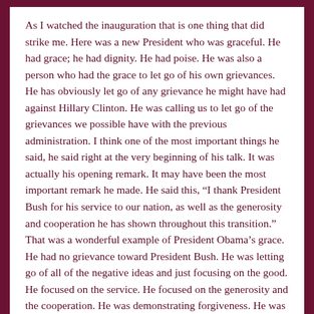As I watched the inauguration that is one thing that did strike me. Here was a new President who was graceful. He had grace; he had dignity. He had poise. He was also a person who had the grace to let go of his own grievances. He has obviously let go of any grievance he might have had against Hillary Clinton. He was calling us to let go of the grievances we possible have with the previous administration. I think one of the most important things he said, he said right at the very beginning of his talk. It was actually his opening remark. It may have been the most important remark he made. He said this, “I thank President Bush for his service to our nation, as well as the generosity and cooperation he has shown throughout this transition.” That was a wonderful example of President Obama’s grace. He had no grievance toward President Bush. He was letting go of all of the negative ideas and just focusing on the good. He focused on the service. He focused on the generosity and the cooperation. He was demonstrating forgiveness. He was demonstrating letting go of grievances. A Course In Miracles says “Love holds no grievances.” (Wk.Or.Ed.68). We had a wonderful demonstration of a President who was holding no grievances and actually shifting his perception to what was good, beneficent, and cooperative about the former President.